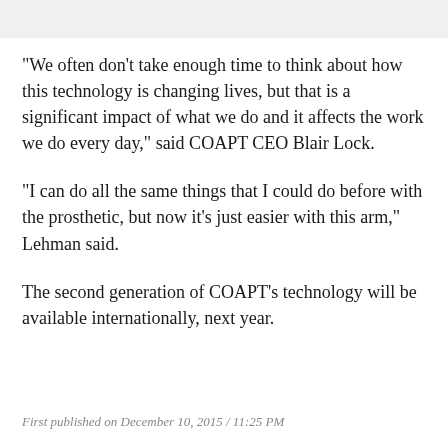"We often don't take enough time to think about how this technology is changing lives, but that is a significant impact of what we do and it affects the work we do every day," said COAPT CEO Blair Lock.
"I can do all the same things that I could do before with the prosthetic, but now it's just easier with this arm," Lehman said.
The second generation of COAPT's technology will be available internationally, next year.
First published on December 10, 2015 / 11:25 PM